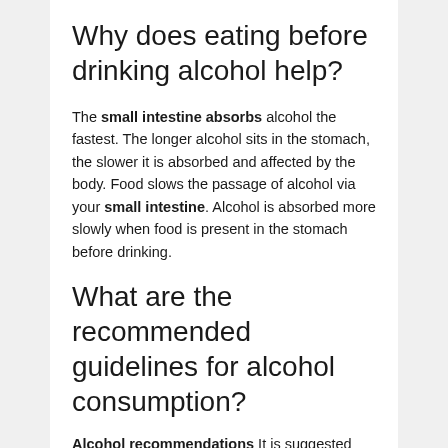Why does eating before drinking alcohol help?
The small intestine absorbs alcohol the fastest. The longer alcohol sits in the stomach, the slower it is absorbed and affected by the body. Food slows the passage of alcohol via your small intestine. Alcohol is absorbed more slowly when food is present in the stomach before drinking.
What are the recommended guidelines for alcohol consumption?
Alcohol recommendations It is suggested that you consume no more than 14 units of alcohol each week, spread out across three days or more. This is about 6 medium (175ml) glasses of wine or 6 pints of 4% beer.